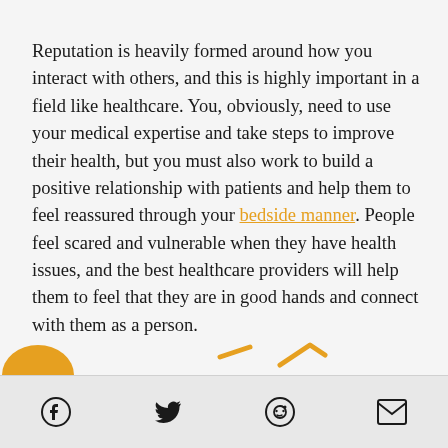Reputation is heavily formed around how you interact with others, and this is highly important in a field like healthcare. You, obviously, need to use your medical expertise and take steps to improve their health, but you must also work to build a positive relationship with patients and help them to feel reassured through your bedside manner. People feel scared and vulnerable when they have health issues, and the best healthcare providers will help them to feel that they are in good hands and connect with them as a person.
[Figure (other): Partial orange icons/decorative elements visible at bottom edge of content area]
Social share icons: Facebook, Twitter, Reddit, Email